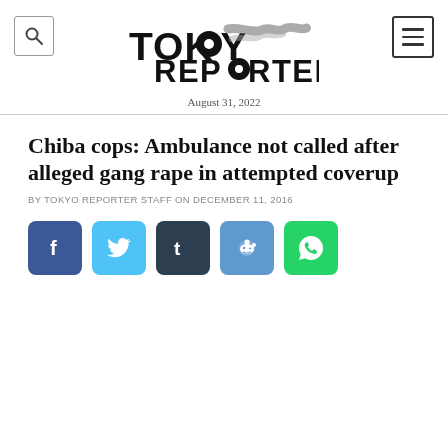Tokyo Reporter — August 31, 2022
Chiba cops: Ambulance not called after alleged gang rape in attempted coverup
BY TOKYO REPORTER STAFF ON DECEMBER 11, 2016
[Figure (other): Social media share buttons: Facebook, Twitter, Tumblr, Reddit, WhatsApp]